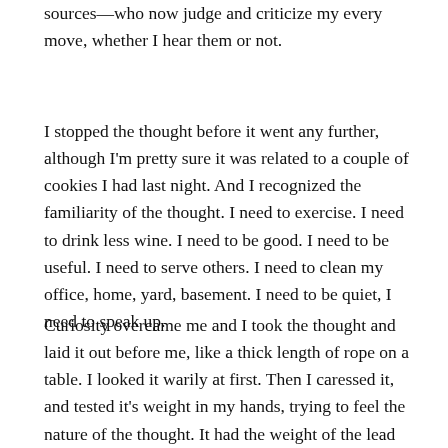sources—who now judge and criticize my every move, whether I hear them or not.
I stopped the thought before it went any further, although I'm pretty sure it was related to a couple of cookies I had last night. And I recognized the familiarity of the thought. I need to exercise. I need to drink less wine. I need to be good. I need to be useful. I need to serve others. I need to clean my office, home, yard, basement. I need to be quiet, I need to speak up.
Curiosity overcame me and I took the thought and laid it out before me, like a thick length of rope on a table. I looked it warily at first. Then I caressed it, and tested it's weight in my hands, trying to feel the nature of the thought. It had the weight of the lead apron at the dentist's but the